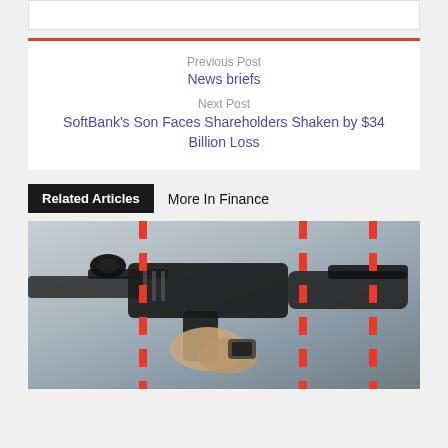Previous Post
News briefs
Next Post
SoftBank's Son Faces Shareholders Shaken by $34 Billion Loss
Related Articles
More In Finance
[Figure (photo): A person holding an assault rifle with a red dashed border overlay graphic]